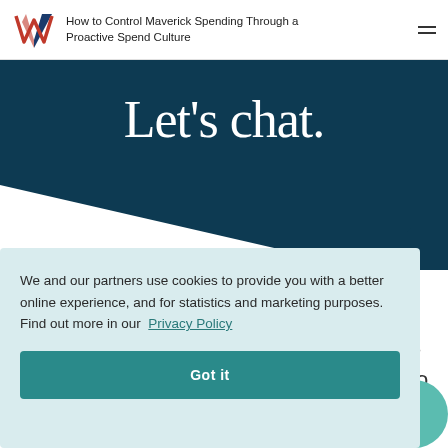How to Control Maverick Spending Through a Proactive Spend Culture
[Figure (illustration): Dark teal hero section with large serif text 'Let’s chat.' and a diagonal white cutout at the bottom left]
We and our partners use cookies to provide you with a better online experience, and for statistics and marketing purposes. Find out more in our  Privacy Policy
Got it